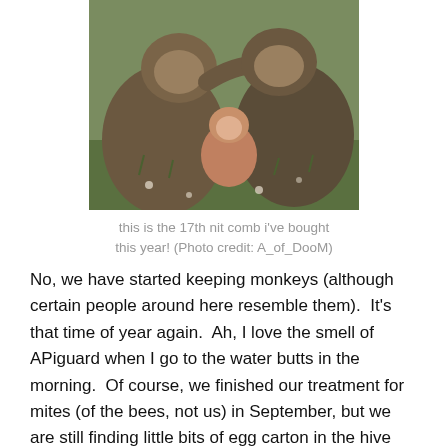[Figure (photo): Two large monkeys grooming each other with a small baby monkey between them, sitting on grass with small white flowers in the background.]
this is the 17th nit comb i've bought this year! (Photo credit: A_of_DooM)
No, we have started keeping monkeys (although certain people around here resemble them).  It's that time of year again.  Ah, I love the smell of APiguard when I go to the water butts in the morning.  Of course, we finished our treatment for mites (of the bees, not us) in September, but we are still finding little bits of egg carton in the hive and on the ground.